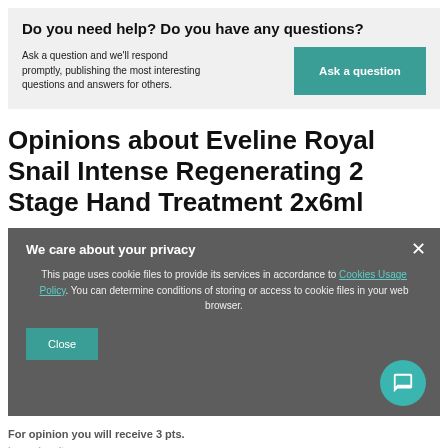Do you need help? Do you have any questions?
Ask a question and we'll respond promptly, publishing the most interesting questions and answers for others.
Opinions about Eveline Royal Snail Intense Regenerating 2 Stage Hand Treatment 2x6ml
We care about your privacy
This page uses cookie files to provide its services in accordance to Cookies Usage Policy. You can determine conditions of storing or access to cookie files in your web browser.
For opinion you will receive 3 pts.
in our loyalty program.